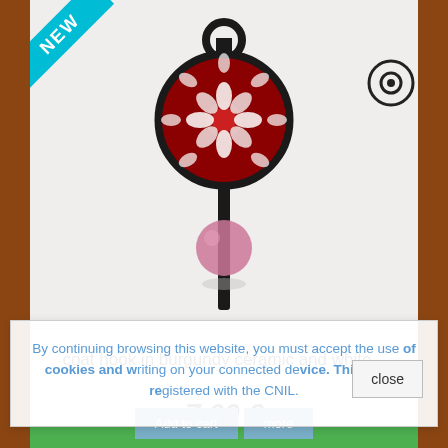[Figure (photo): A decorative ceramic coat hook with a burgundy and white floral pattern on a circular medallion at the top, a dark metal stem, and a pink ceramic ball lower on the stem. The hook has a loop at the top for mounting.]
coat hook in burgundy ceramic and white...
7,00 €
By continuing browsing this website, you must accept the use of cookies and writing on your connected device. This site is registered with the CNIL.